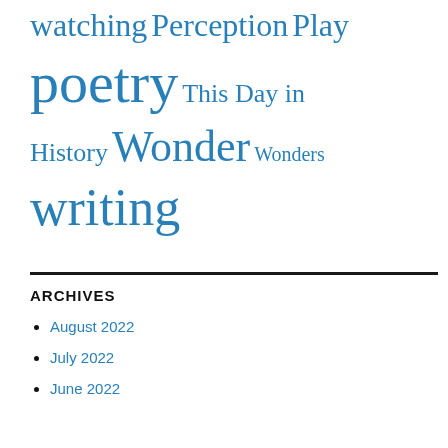watching Perception Play
poetry This Day in
History Wonder Wonders
writing
ARCHIVES
August 2022
July 2022
June 2022